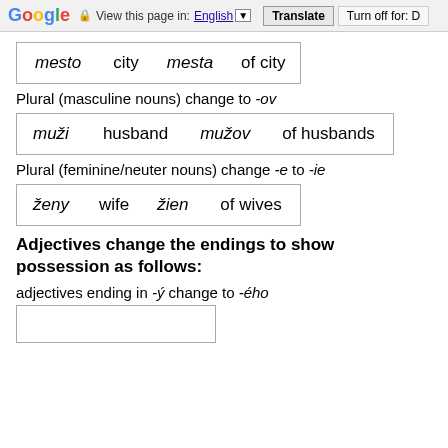Google  View this page in: English [▼]  Translate  Turn off for: D
| mesto | city | mesta | of city |
Plural (masculine nouns) change to -ov
| muži | husband | mužov | of husbands |
Plural (feminine/neuter nouns) change -e to -ie
| ženy | wife | žien | of wives |
Adjectives change the endings to show possession as follows:
adjectives ending in -ý change to -ého
|  |